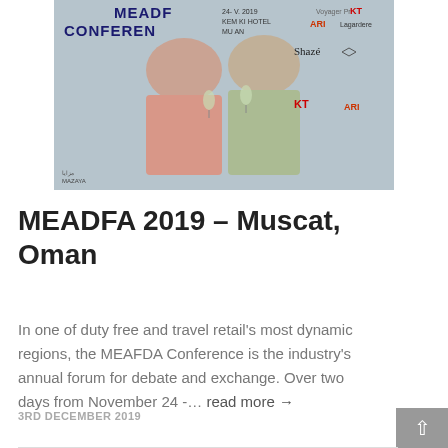[Figure (photo): Two people standing in front of a MEADFA Conference branded backdrop with various sponsor logos including KT, ARI, Lagardere, Shaze, Mazaya. The backdrop shows '24- NOV. 2019 KEMPINSKI HOTEL MUSCAT, OMAN'. One person wears a pink/salmon top, the other wears a light green shirt.]
MEADFA 2019 – Muscat, Oman
In one of duty free and travel retail's most dynamic regions, the MEAFDA Conference is the industry's annual forum for debate and exchange. Over two days from November 24 -… read more →
3RD DECEMBER 2019